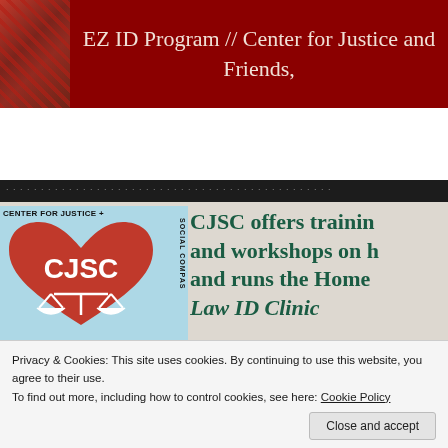EZ ID Program // Center for Justice and Friends,
[Figure (screenshot): Website navigation bar with dark background showing menu items: Home, Expertise, EZ ID Program, Workshops, Th...]
[Figure (logo): CJSC Center for Justice + Social Compass logo - red heart with scales of justice and CJSC text on light blue background]
CJSC offers training and workshops on h... and runs the Home... Law ID Clinic
Privacy & Cookies: This site uses cookies. By continuing to use this website, you agree to their use.
To find out more, including how to control cookies, see here: Cookie Policy
Close and accept